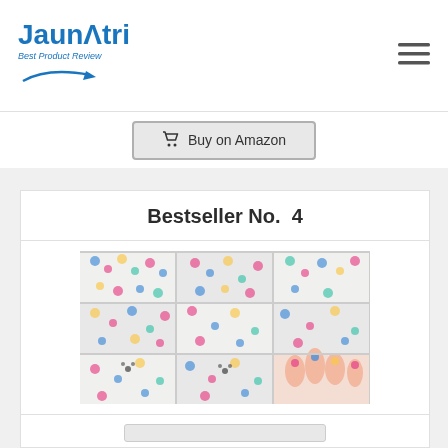Jaunatri Best Product Review
Buy on Amazon
Bestseller No.  4
[Figure (photo): Product photo showing 6 sheets of cute cartoon nail art stickers with Disney characters including Mickey Mouse, Minnie Mouse, and Disney princesses. Also shows fingers with the stickers applied to nails.]
6 Sheets Cute Cartoon Nail Art Stickers, Water Transfer Nail...